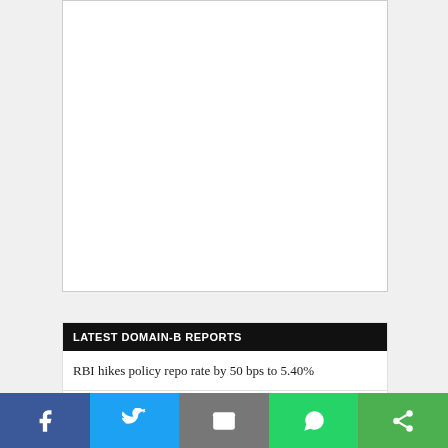[Figure (other): Advertisement / empty white box placeholder]
LATEST DOMAIN-B REPORTS
RBI hikes policy repo rate by 50 bps to 5.40%
Justice UU Lalit's name recommended for next Chief
[Figure (other): Social sharing bar with Facebook, Twitter, Email, WhatsApp, and Share buttons]